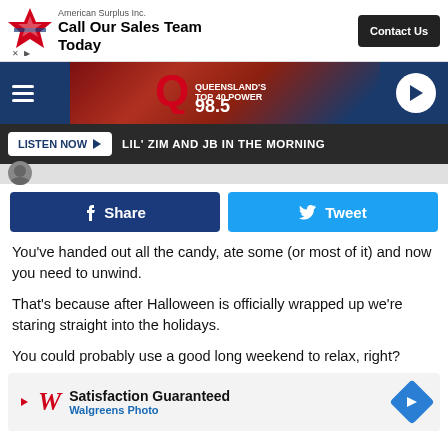[Figure (screenshot): American Surplus Inc. advertisement banner: star logo, 'Call Our Sales Team Today', Contact Us button]
[Figure (screenshot): Q98.5 radio station header with hamburger menu, station logo, and play button on dark red/blue background]
[Figure (screenshot): Listen Now bar with play button and text 'LIL' ZIM AND JB IN THE MORNING']
[Figure (screenshot): Facebook Share and Twitter Tweet social share buttons]
You've handed out all the candy, ate some (or most of it) and now you need to unwind.
That's because after Halloween is officially wrapped up we're staring straight into the holidays.
You could probably use a good long weekend to relax, right?
[Figure (screenshot): Walgreens Photo advertisement: 'Satisfaction Guaranteed' with Walgreens logo and navigation icon]